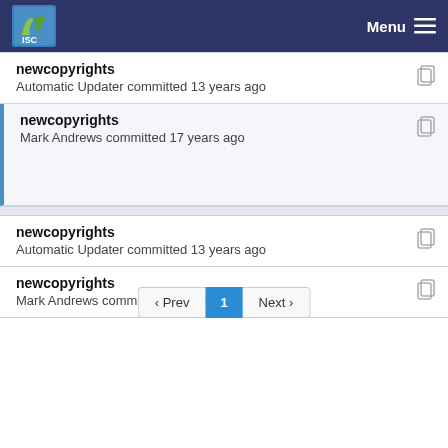ISC — Menu
newcopyrights — Automatic Updater committed 13 years ago
newcopyrights — Mark Andrews committed 17 years ago
newcopyrights — Automatic Updater committed 13 years ago
newcopyrights — Mark Andrews committed 17 years ago
‹ Prev  1  Next ›